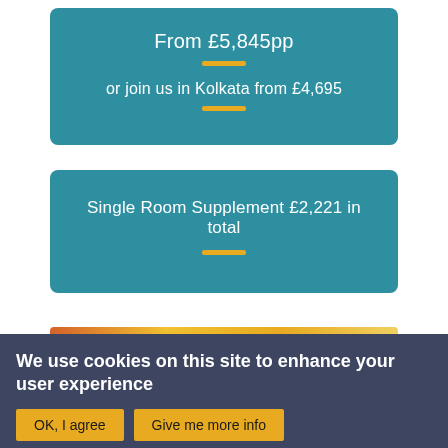From £5,845pp
or join us in Kolkata from £4,695
Single Room Supplement £2,221 in total
We use cookies on this site to enhance your user experience
OK, I agree
Give me more info